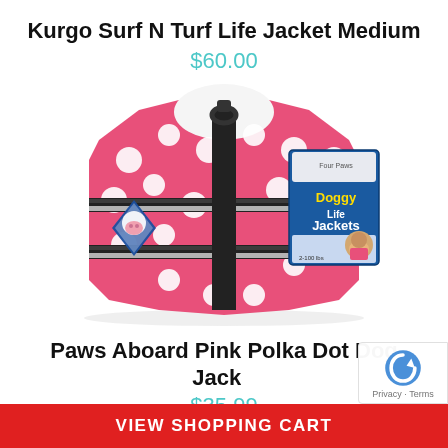Kurgo Surf N Turf Life Jacket Medium
$60.00
[Figure (photo): Pink polka dot dog life jacket (Paws Aboard brand) with black straps and reflective strips, with a Doggy Life Jackets product tag attached]
Paws Aboard Pink Polka Dot Dog Jacket
$35.99
VIEW SHOPPING CART